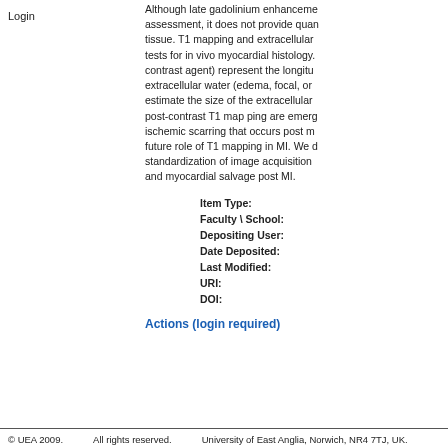Login
Although late gadolinium enhancement assessment, it does not provide quantification of tissue. T1 mapping and extracellular tests for in vivo myocardial histology. contrast agent) represent the longitudinal extracellular water (edema, focal, or estimate the size of the extracellular post-contrast T1 map ping are emerging ischemic scarring that occurs post myocardial infarction. future role of T1 mapping in MI. We discuss standardization of image acquisition and myocardial salvage post MI.
| Label | Value |
| --- | --- |
| Item Type: |  |
| Faculty \ School: |  |
| Depositing User: |  |
| Date Deposited: |  |
| Last Modified: |  |
| URI: |  |
| DOI: |  |
Actions (login required)
© UEA 2009.    All rights reserved.    University of East Anglia, Norwich, NR4 7TJ, UK.